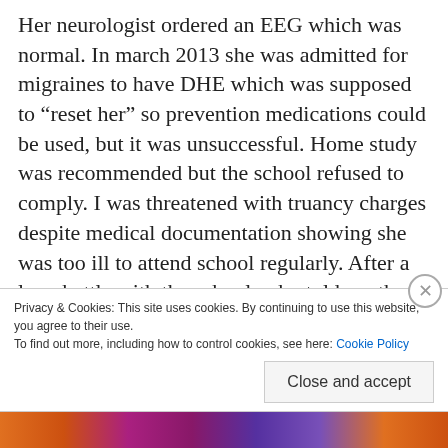Her neurologist ordered an EEG which was normal. In march 2013 she was admitted for migraines to have DHE which was supposed to “reset her” so prevention medications could be used, but it was unsuccessful. Home study was recommended but the school refused to comply. I was threatened with truancy charges despite medical documentation showing she was too ill to attend school regularly. After a long battle with the school, who told me they had more authority over my daughter’s health than her NEUROLOGIST. My daughter was accused of faking her symptoms despite doctors
Privacy & Cookies: This site uses cookies. By continuing to use this website, you agree to their use. To find out more, including how to control cookies, see here: Cookie Policy
Close and accept